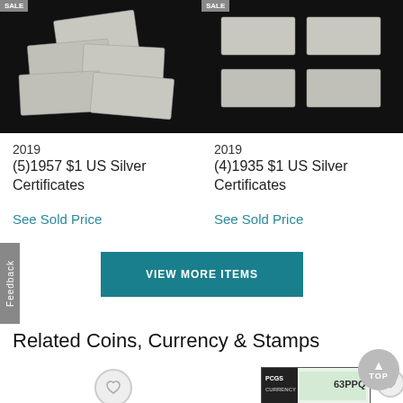[Figure (photo): Photo of five 1957 $1 US Silver Certificates spread out on dark background, with SALE badge]
[Figure (photo): Photo of four 1935 $1 US Silver Certificates laid out on dark background, with SALE badge]
2019
(5)1957 $1 US Silver Certificates
See Sold Price
2019
(4)1935 $1 US Silver Certificates
See Sold Price
VIEW MORE ITEMS
Related Coins, Currency & Stamps
[Figure (photo): PCGS graded coin/currency slab showing 63 grade, partially visible]